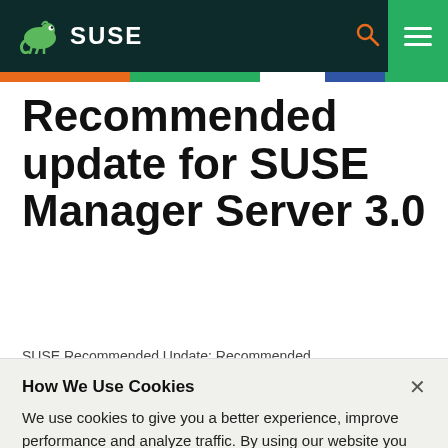SUSE
Recommended update for SUSE Manager Server 3.0
SUSE Recommended Update: Recommended
How We Use Cookies
We use cookies to give you a better experience, improve performance and analyze traffic. By using our website you agree to our use of cookies.
View and change cookie preferences >